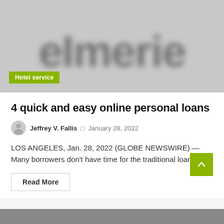[Figure (photo): Blurred grayscale hero image showing large stylized text letters resembling a brand name, with a green 'Hotel service' badge overlay at bottom left]
4 quick and easy online personal loans
Jeffrey V. Fallis  □ January 28, 2022
LOS ANGELES, Jan. 28, 2022 (GLOBE NEWSWIRE) — Many borrowers don’t have time for the traditional loan…
Read More